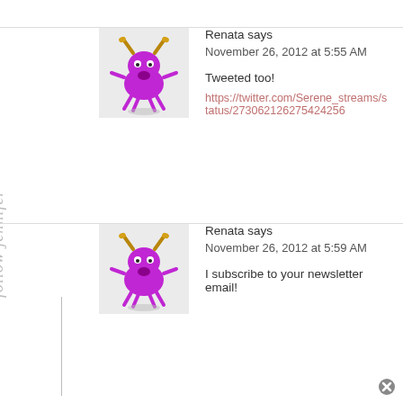[Figure (illustration): Purple cartoon monster avatar with horns and legs on light grey background]
Renata says
November 26, 2012 at 5:55 AM
Tweeted too!
https://twitter.com/Serene_streams/status/273062126275424256
[Figure (illustration): Purple cartoon monster avatar with horns and legs on light grey background]
Renata says
November 26, 2012 at 5:59 AM
I subscribe to your newsletter email!
[Figure (illustration): Cursive handwritten watermark text reading 'follow jennifer' rotated vertically on left side]